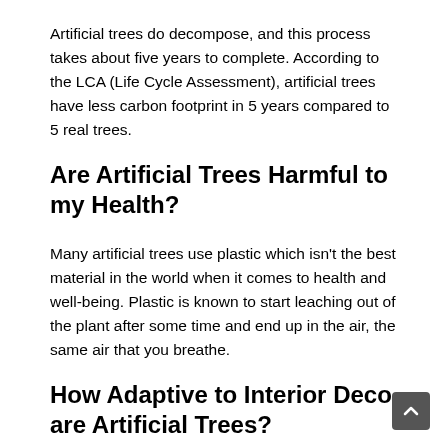Artificial trees do decompose, and this process takes about five years to complete. According to the LCA (Life Cycle Assessment), artificial trees have less carbon footprint in 5 years compared to 5 real trees.
Are Artificial Trees Harmful to my Health?
Many artificial trees use plastic which isn't the best material in the world when it comes to health and well-being. Plastic is known to start leaching out of the plant after some time and end up in the air, the same air that you breathe.
How Adaptive to Interior Deco are Artificial Trees?
A while back, many people considered artificial trees tacky. But with advancements in technology, design, and manufacturing, it's now harder to tell the real trees from the fake ones. Artificial